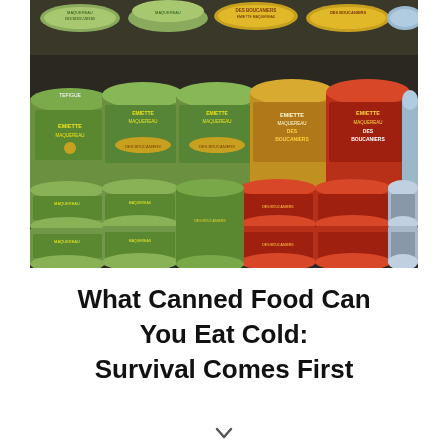[Figure (photo): A photograph showing rows and stacks of colorful canned food (tins of fish/mackerel) with green, red, yellow, and gold labels. Several brands are visible including 'Des Boucaniers' and labels in French such as 'Emiette de Maquereau'.]
What Canned Food Can You Eat Cold: Survival Comes First